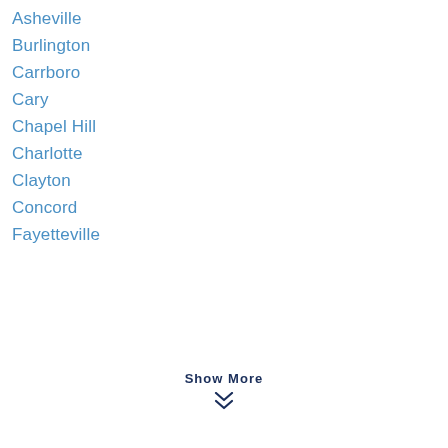Asheville
Burlington
Carrboro
Cary
Chapel Hill
Charlotte
Clayton
Concord
Fayetteville
Show More